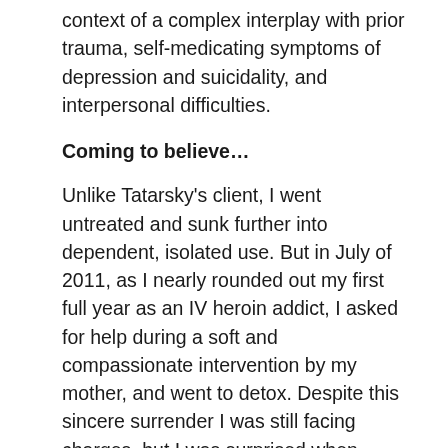context of a complex interplay with prior trauma, self-medicating symptoms of depression and suicidality, and interpersonal difficulties.
Coming to believe…
Unlike Tatarsky's client, I went untreated and sunk further into dependent, isolated use. But in July of 2011, as I nearly rounded out my first full year as an IV heroin addict, I asked for help during a soft and compassionate intervention by my mother, and went to detox. Despite this sincere surrender I was still facing charges, but I was surprised when, after my treatment, my objection to all-or-nothing abstinence that was being sold to me at rehab the year before—and now the drug treatment court program—seemed slightly less terrible.